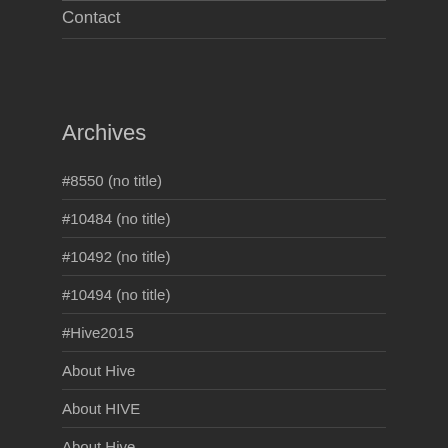Contact
Archives
#8550 (no title)
#10484 (no title)
#10492 (no title)
#10494 (no title)
#Hive2015
About Hive
About HIVE
About Hive
About us